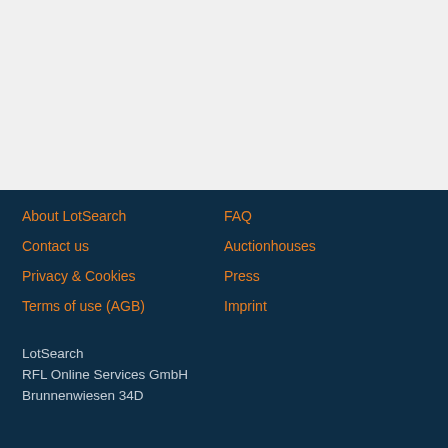About LotSearch
FAQ
Contact us
Auctionhouses
Privacy & Cookies
Press
Terms of use (AGB)
Imprint
LotSearch
RFL Online Services GmbH
Brunnenwiesen 34D